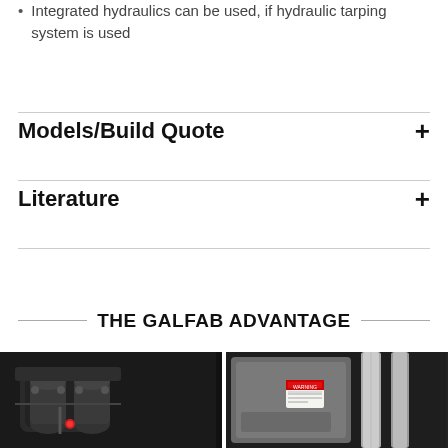Integrated hydraulics can be used, if hydraulic tarping system is used
Models/Build Quote
Literature
THE GALFAB ADVANTAGE
[Figure (photo): Close-up photo of hydraulic machinery component, black metal parts with bolts and a red fitting visible]
[Figure (photo): Photo of equipment panel or cover with silver tubes/pipes and a warning label sticker]